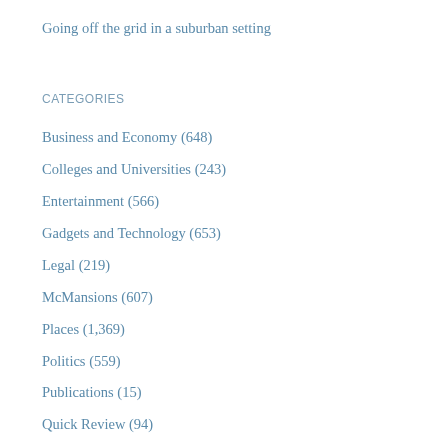Going off the grid in a suburban setting
CATEGORIES
Business and Economy (648)
Colleges and Universities (243)
Entertainment (566)
Gadgets and Technology (653)
Legal (219)
McMansions (607)
Places (1,369)
Politics (559)
Publications (15)
Quick Review (94)
Religion (266)